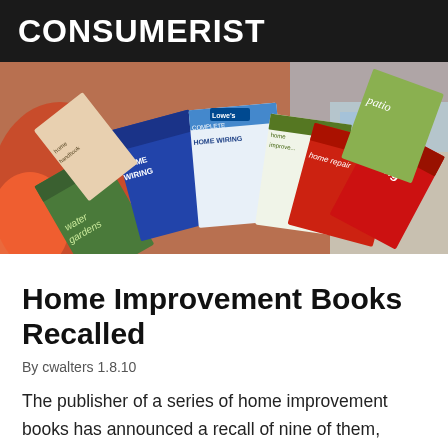CONSUMERIST
[Figure (photo): A fan of home improvement books spread out, including titles about home wiring, home repair, water gardens, and patio, with Lowe's branding visible.]
Home Improvement Books Recalled
By cwalters 1.8.10
The publisher of a series of home improvement books has announced a recall of nine of them, because of errors in their instructions on installing or repairing electrical wiring. The Consumer Products Safety